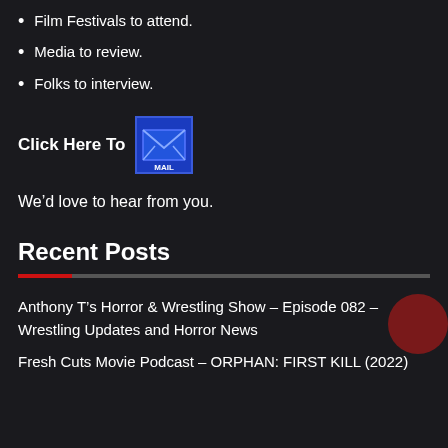Film Festivals to attend.
Media to review.
Folks to interview.
Click Here To [MAIL icon]
We’d love to hear from you.
Recent Posts
Anthony T’s Horror & Wrestling Show – Episode 082 – Wrestling Updates and Horror News
Fresh Cuts Movie Podcast – ORPHAN: FIRST KILL (2022)